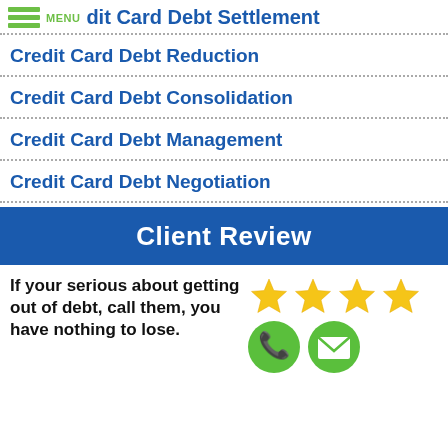MENU | Credit Card Debt Settlement
Credit Card Debt Reduction
Credit Card Debt Consolidation
Credit Card Debt Management
Credit Card Debt Negotiation
Client Review
If your serious about getting out of debt, call them, you have nothing to lose.